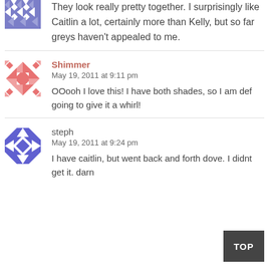They look really pretty together. I surprisingly like Caitlin a lot, certainly more than Kelly, but so far greys haven't appealed to me.
Shimmer
May 19, 2011 at 9:11 pm
OOooh I love this! I have both shades, so I am def going to give it a whirl!
steph
May 19, 2011 at 9:24 pm
I have caitlin, but went back and forth dove. I didnt get it. darn